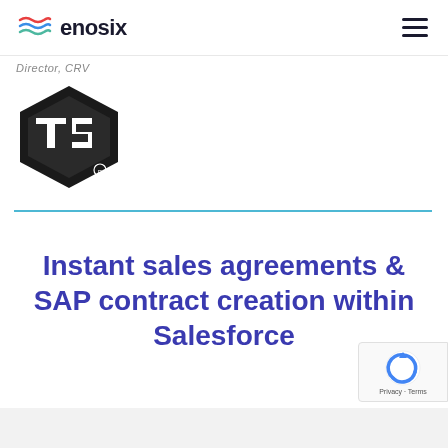enosix
Director, CRV
[Figure (logo): TSI logo — black shield/diamond shape with 'TSI' letters and registered trademark symbol]
Instant sales agreements & SAP contract creation within Salesforce